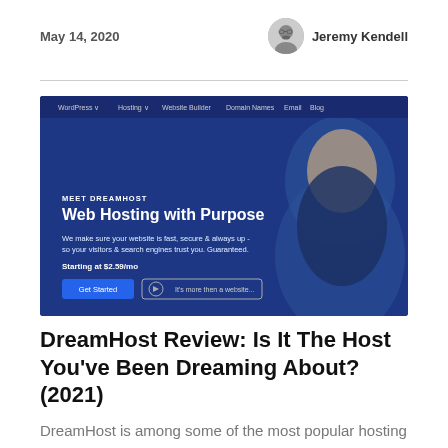May 14, 2020
Jeremy Kendell
[Figure (screenshot): DreamHost website homepage screenshot showing navigation bar with WordPress, Hosting, Website Builder, Domain Names, Email, Blog links. Main hero area with dark blue overlay and a woman smiling. Text reads: MEET DREAMHOST, Web Hosting with Purpose, We make sure your website is fast, secure & always up - so your visitors & search engines trust you. Guaranteed. Starting at $2.59/mo. Buttons: Get Started and It's more then a website...]
DreamHost Review: Is It The Host You've Been Dreaming About? (2021)
DreamHost is among some of the most popular hosting providers out there. It's known for a lot of